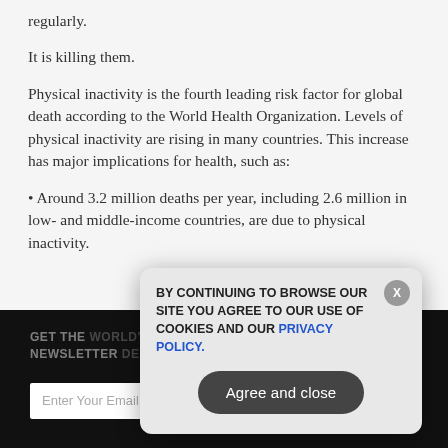regularly.
It is killing them.
Physical inactivity is the fourth leading risk factor for global death according to the World Health Organization. Levels of physical inactivity are rising in many countries. This increase has major implications for health, such as:
• Around 3.2 million deaths per year, including 2.6 million in low- and middle-income countries, are due to physical inactivity.
GET THE WORLD'S BEST INDEPENDENT MEDIA NEWSLETTER DELIVERED STRAIGHT TO YOUR INBOX.
Enter Your Email Address
SUBSCRIBE
BY CONTINUING TO BROWSE OUR SITE YOU AGREE TO OUR USE OF COOKIES AND OUR PRIVACY POLICY.
Agree and close
X